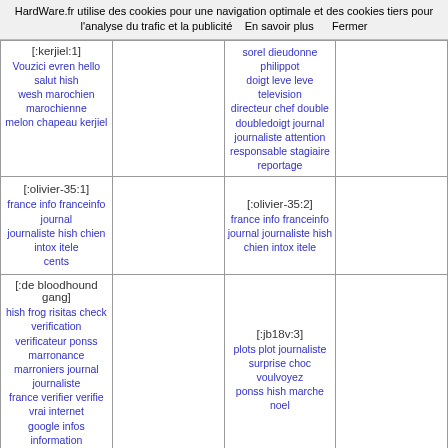HardWare.fr utilise des cookies pour une navigation optimale et des cookies tiers pour l'analyse du trafic et la publicité   En savoir plus      Fermer
| [:kerjiel:1]
Vouzici evren hello salut hish wesh marochien marochienne melon chapeau kerjiel |  | sorel dieudonne philippot doigt leve leve television directeur chef double doubledoigt journal journaliste attention responsable stagiaire reportage |  |
| [:olivier-35:1]
france info franceinfo journal journaliste hish chien intox itele cents |  | [:olivier-35:2]
france info franceinfo journal journaliste hish chien intox itele |  |
| [:de bloodhound gang]
hish frog risitas check verification verificateur ponss marronance marroniers journal journaliste france verifier verifie vrai internet google infos information informations espagnol |  | [:jb18v:3]
plots plot journaliste surprise choc voulvoyez ponss hish marche noel |  |
| [:poutrellette:1]
troll chasse buche bucheron hish chien bois coupe casse bois foret |  | [:mac_lane:6]
pickle rick quenelle hish lane cornichon quizz patron |  |
| [:patisucre:5]
Hish chien morphing Cyril Lignac Poils Canigou chef bouffe patissier mercotte gestapo nazi moustache moche cuisine cuisinier |  | [:timoonn:7]
hish hishonss timoonn moune combinaison covid covid19 virus coronavirus masque chien corona |  |
| [:sat 08:9]
hish donkey calico |  | [:sat 08:10]
hish donkey calico |  |